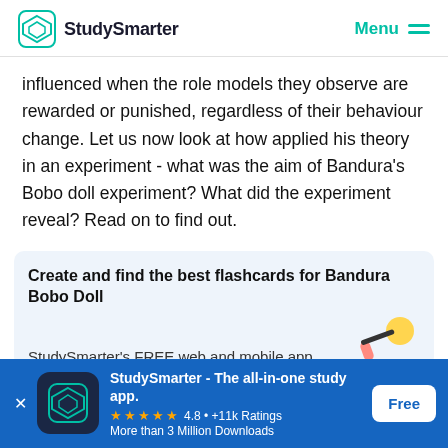StudySmarter | Menu
influenced when the role models they observe are rewarded or punished, regardless of their behaviour change. Let us now look at how applied his theory in an experiment - what was the aim of Bandura's Bobo doll experiment? What did the experiment reveal? Read on to find out.
Create and find the best flashcards for Bandura Bobo Doll
StudySmarter's FREE web and mobile app
[Figure (screenshot): StudySmarter app banner with logo, rating stars (4.8, +11k Ratings), More than 3 Million Downloads, and Free button]